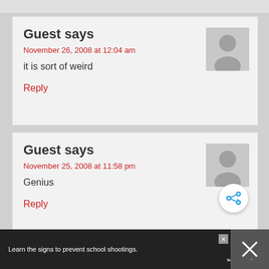Guest says
November 26, 2008 at 12:04 am
it is sort of weird
Reply
Guest says
November 25, 2008 at 11:58 pm
Genius
Reply
Guest says
November 25, 2008 at 11:56 pm
WHAT'S NEXT → Dollar Tree Halloween....
Learn the signs to prevent school shootings.